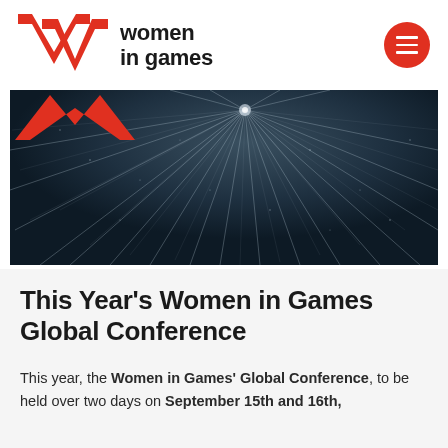[Figure (logo): Women in Games logo with red W chevron mark and text 'women in games' in bold black, plus red circle hamburger menu icon on the right]
[Figure (photo): Dark dramatic starfield/light rays burst photograph used as hero banner image, with a red chevron shape overlaid at the left]
This Year's Women in Games Global Conference
This year, the Women in Games' Global Conference, to be held over two days on September 15th and 16th,